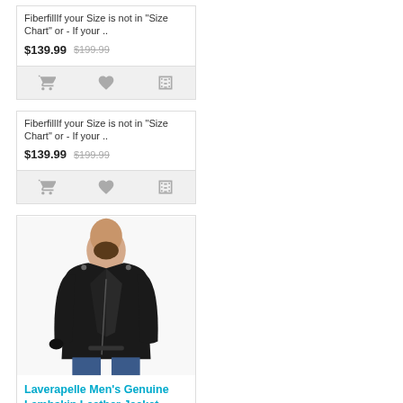FiberfillIf your Size is not in "Size Chart" or - If your ..
$139.99  $199.99
FiberfillIf your Size is not in "Size Chart" or - If your ..
$139.99  $199.99
[Figure (photo): Man wearing black leather double rider motorcycle jacket, dark background]
Laverapelle Men's Genuine Lambskin Leather Jacket (Double Rider Jacket) - 1501409
Product Features:100%
[Figure (photo): Man wearing black leather double rider motorcycle jacket with silver hardware, grey shirt underneath]
Laverapelle Men's Genuine Lambskin Leather Jacket (Double Rider Jacket) - 1501428
Product Features:100%